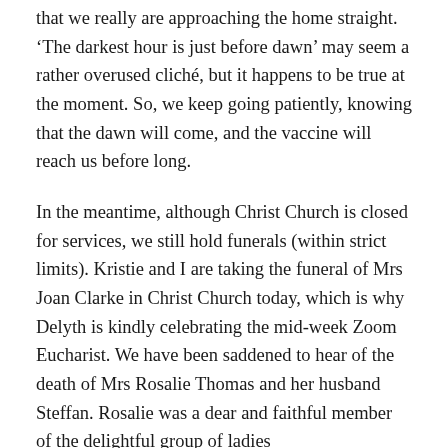that we really are approaching the home straight. 'The darkest hour is just before dawn' may seem a rather overused cliché, but it happens to be true at the moment. So, we keep going patiently, knowing that the dawn will come, and the vaccine will reach us before long.
In the meantime, although Christ Church is closed for services, we still hold funerals (within strict limits). Kristie and I are taking the funeral of Mrs Joan Clarke in Christ Church today, which is why Delyth is kindly celebrating the mid-week Zoom Eucharist. We have been saddened to hear of the death of Mrs Rosalie Thomas and her husband Steffan. Rosalie was a dear and faithful member of the delightful group of ladies